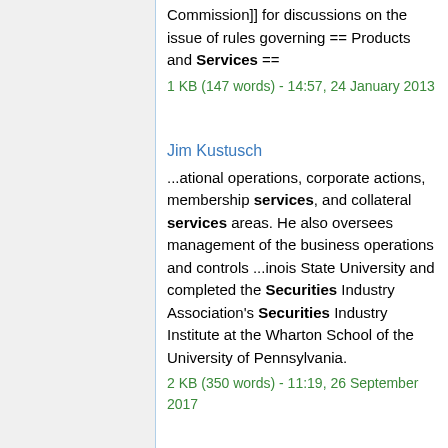Commission]] for discussions on the issue of rules governing == Products and Services ==
1 KB (147 words) - 14:57, 24 January 2013
Jim Kustusch
...ational operations, corporate actions, membership services, and collateral services areas. He also oversees management of the business operations and controls ...inois State University and completed the Securities Industry Association's Securities Industry Institute at the Wharton School of the University of Pennsylvania.
2 KB (350 words) - 11:19, 26 September 2017
Laura Cha